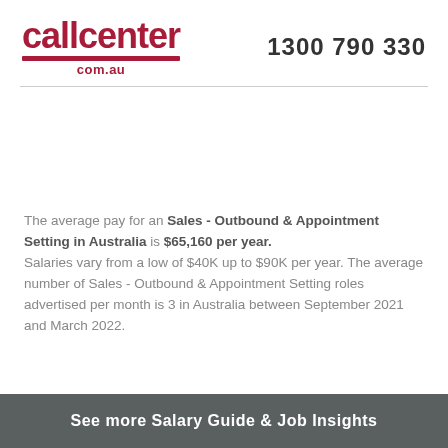callcenter com.au — 1300 790 330
The average pay for an Sales - Outbound & Appointment Setting in Australia is $65,160 per year. Salaries vary from a low of $40K up to $90K per year. The average number of Sales - Outbound & Appointment Setting roles advertised per month is 3 in Australia between September 2021 and March 2022.
See more Salary Guide & Job Insights